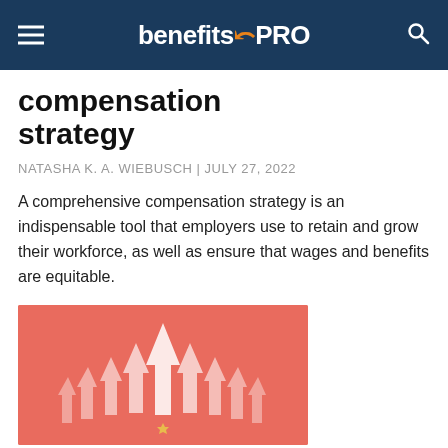benefitsPRO
compensation strategy
NATASHA K. A. WIEBUSCH | JULY 27, 2022
A comprehensive compensation strategy is an indispensable tool that employers use to retain and grow their workforce, as well as ensure that wages and benefits are equitable.
[Figure (illustration): Salmon/coral colored background with white upward-pointing arrows of various sizes rising from the center, suggesting growth or improvement in compensation.]